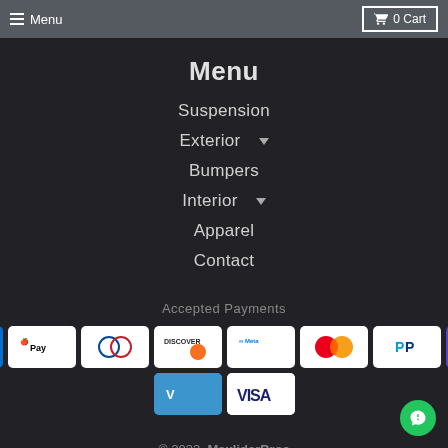Menu  0 Cart
Menu
Suspension
Exterior ▾
Bumpers
Interior ▾
Apparel
Contact
Accepted Payments
[Figure (infographic): Payment method icons: AMEX, Apple Pay, Diners Club, Discover, Meta Pay, Mastercard, PayPal, Shop Pay, Venmo, Visa]
© 2022, MaxliderBros